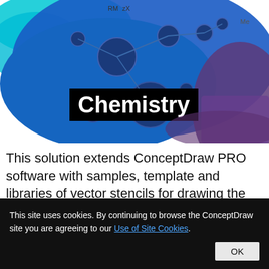[Figure (illustration): Chemistry solution banner image showing molecular structure illustrations in blue tones with 'Chemistry' text on black background label. Overlapping colored blobs in cyan, blue, and purple with chemical structure line drawings.]
This solution extends ConceptDraw PRO software with samples, template and libraries of vector stencils for drawing the
This site uses cookies. By continuing to browse the ConceptDraw site you are agreeing to our Use of Site Cookies.